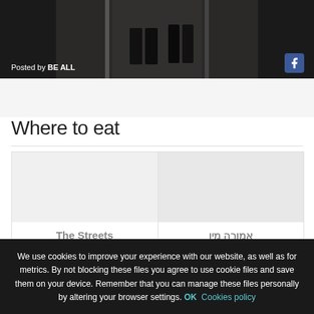[Figure (photo): Dark photo of a corridor/hallway with people walking, with 'Posted by BE ALL' text overlay and Facebook icon in bottom right corner]
Where to eat
| Name | Number |
| --- | --- |
| The Streets | 459 |
| אמורה מיו | 499 |
We use cookies to improve your experience with our website, as well as for metrics. By not blocking these files you agree to use cookie files and save them on your device. Remember that you can manage these files personally by altering your browser settings. OK Cookies policy